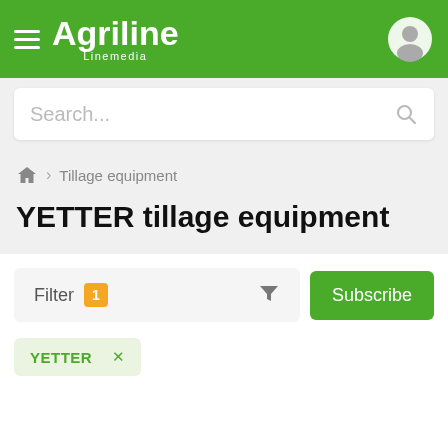Agriline Linemedia
Search...
Tillage equipment
YETTER tillage equipment
Filter 1
Subscribe
YETTER ×
YETTER tillage equipment: 14 ads